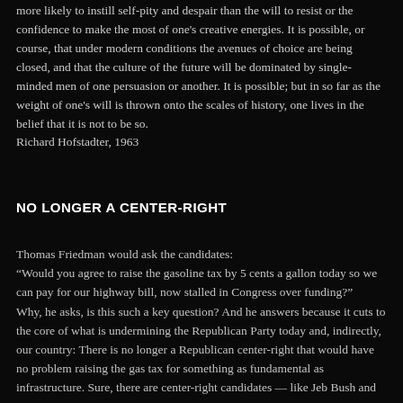more likely to instill self-pity and despair than the will to resist or the confidence to make the most of one's creative energies. It is possible, or course, that under modern conditions the avenues of choice are being closed, and that the culture of the future will be dominated by single-minded men of one persuasion or another. It is possible; but in so far as the weight of one's will is thrown onto the scales of history, one lives in the belief that it is not to be so.
Richard Hofstadter, 1963
NO LONGER A CENTER-RIGHT
Thomas Friedman would ask the candidates:
“Would you agree to raise the gasoline tax by 5 cents a gallon today so we can pay for our highway bill, now stalled in Congress over funding?”
Why, he asks, is this such a key question? And he answers because it cuts to the core of what is undermining the Republican Party today and, indirectly, our country: There is no longer a Republican center-right that would have no problem raising the gas tax for something as fundamental as infrastructure. Sure, there are center-right candidates — like Jeb Bush and John Kasich. But can they run, win and govern from the center-right today the base of this party today